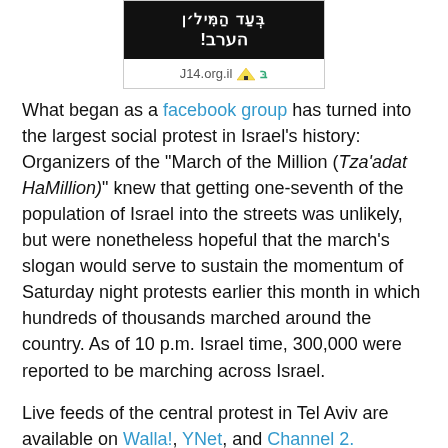[Figure (other): A bordered image block showing Hebrew text on a black background, with the text 'J14.org.il' and a yellow tent icon below.]
What began as a facebook group has turned into the largest social protest in Israel's history: Organizers of the "March of the Million (Tza'adat HaMillion)" knew that getting one-seventh of the population of Israel into the streets was unlikely, but were nonetheless hopeful that the march's slogan would serve to sustain the momentum of Saturday night protests earlier this month in which hundreds of thousands marched around the country. As of 10 p.m. Israel time, 300,000 were reported to be marching across Israel.
Live feeds of the central protest in Tel Aviv are available on Walla!, YNet, and Channel 2.
Update (22:40): Police estimate over 400,000 people are currently protesting throughout the country, including at least 300,000 in Tel Aviv and 50,000 in Jerusalem. (Haaretz)